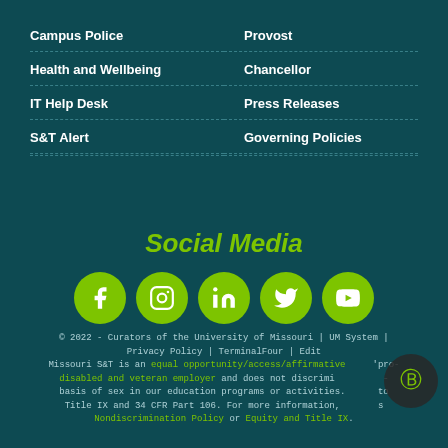Campus Police
Provost
Health and Wellbeing
Chancellor
IT Help Desk
Press Releases
S&T Alert
Governing Policies
Social Media
[Figure (infographic): Five social media icon buttons (Facebook, Instagram, LinkedIn, Twitter, YouTube) displayed as green circles with white icons]
© 2022 - Curators of the University of Missouri | UM System | Privacy Policy | TerminalFour | Edit
Missouri S&T is an equal opportunity/access/affirmative 'pro- disabled and veteran employer and does not discrimi- basis of sex in our education programs or activities. to Title IX and 34 CFR Part 106. For more information, s Nondiscrimination Policy or Equity and Title IX.